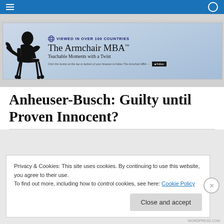[Figure (logo): The Armchair MBA blog banner: silhouette of man sitting in chair, globe icon, text 'VIEWED IN OVER 100 COUNTRIES', 'The Armchair MBA™', 'Teachable Moments with a Twist', follow button]
Anheuser-Busch: Guilty until Proven Innocent?
Privacy & Cookies: This site uses cookies. By continuing to use this website, you agree to their use.
To find out more, including how to control cookies, see here: Cookie Policy
WORDPRESS.COM